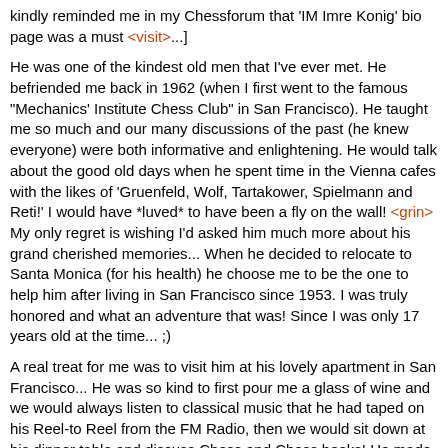kindly reminded me in my Chessforum that 'IM Imre Konig' bio page was a must <visit>...]
He was one of the kindest old men that I've ever met. He befriended me back in 1962 (when I first went to the famous "Mechanics' Institute Chess Club" in San Francisco). He taught me so much and our many discussions of the past (he knew everyone) were both informative and enlightening. He would talk about the good old days when he spent time in the Vienna cafes with the likes of 'Gruenfeld, Wolf, Tartakower, Spielmann and Reti!' I would have *luved* to have been a fly on the wall! <grin> My only regret is wishing I'd asked him much more about his grand cherished memories... When he decided to relocate to Santa Monica (for his health) he choose me to be the one to help him after living in San Francisco since 1953. I was truly honored and what an adventure that was! Since I was only 17 years old at the time... ;)
A real treat for me was to visit him at his lovely apartment in San Francisco... He was so kind to first pour me a glass of wine and we would always listen to classical music that he had taped on his Reel-to Reel from the FM Radio, then we would sit down at his dinner table and discuss Chess and Chess books! He made a little extra income selling Chess books on the side and worked as a Postal Employee until he finally retired. I still remember how he kept time, of course that would be Chess Clock running on the mantle. When we were both at the Chess Club (MICC) he would show me Chess problems and endgame studies to solve. Still to this very day solving a variety of different types of Chess Problems and Endgame studies is something that I *luv* to do.
He lived a very long life from 1901 to 1992. He was awarded the "International Master" title back in 1951. The last time I was to see him was in Lone Pine during the famous Louis D. Statham International Masters'